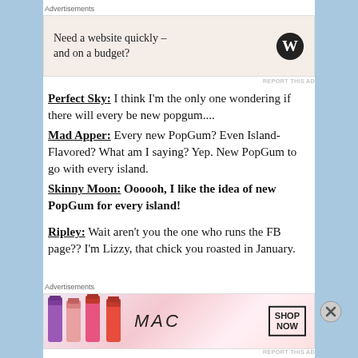Advertisements
[Figure (screenshot): WordPress advertisement banner: 'Need a website quickly – and on a budget?' with WordPress logo on pink/beige background]
REPORT THIS AD
Perfect Sky: I think I'm the only one wondering if there will every be new popgum....
Mad Apper: Every new PopGum? Even Island-Flavored? What am I saying? Yep. New PopGum to go with every island.
Skinny Moon: Oooooh, I like the idea of new PopGum for every island!
Ripley: Wait aren't you the one who runs the FB page?? I'm Lizzy, that chick you roasted in January.
Advertisements
[Figure (screenshot): MAC cosmetics advertisement with lipsticks and 'SHOP NOW' button]